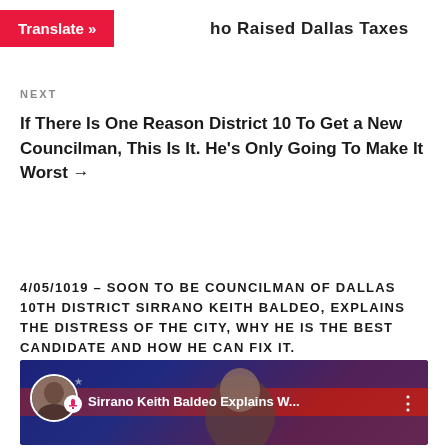[Figure (logo): Translate button in red with white text]
ho Raised Dallas Taxes
NEXT
If There Is One Reason District 10 To Get a New Councilman, This Is It. He's Only Going To Make It Worst →
4/05/1019 – SOON TO BE COUNCILMAN OF DALLAS 10TH DISTRICT SIRRANO KEITH BALDEO, EXPLAINS THE DISTRESS OF THE CITY, WHY HE IS THE BEST CANDIDATE AND HOW HE CAN FIX IT.
[Figure (screenshot): YouTube video thumbnail showing Sirrano Keith Baldeo Explains W... with avatar and three-dot menu]